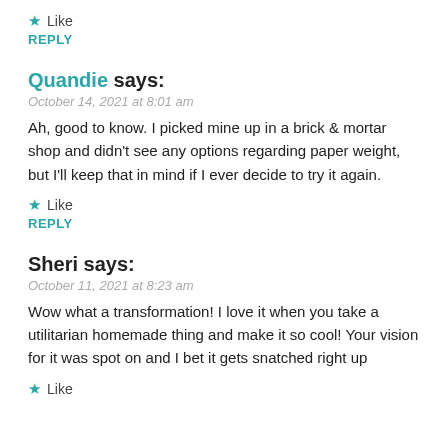★ Like
REPLY
Quandie says:
October 14, 2021 at 8:01 am
Ah, good to know. I picked mine up in a brick & mortar shop and didn't see any options regarding paper weight, but I'll keep that in mind if I ever decide to try it again.
★ Like
REPLY
Sheri says:
October 11, 2021 at 8:23 am
Wow what a transformation! I love it when you take a utilitarian homemade thing and make it so cool! Your vision for it was spot on and I bet it gets snatched right up
★ Like